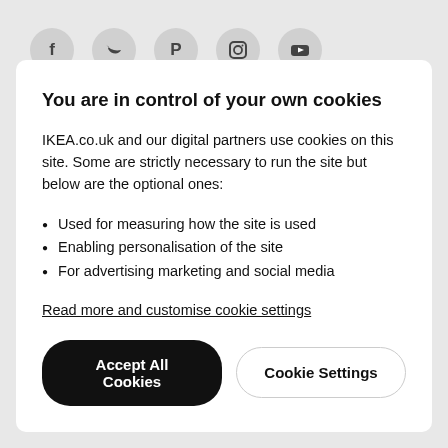[Figure (illustration): Five social media icons (Facebook, Twitter, Pinterest, Instagram, YouTube) in circular grey buttons at the top of the page]
You are in control of your own cookies
IKEA.co.uk and our digital partners use cookies on this site. Some are strictly necessary to run the site but below are the optional ones:
Used for measuring how the site is used
Enabling personalisation of the site
For advertising marketing and social media
Read more and customise cookie settings
Accept All Cookies
Cookie Settings